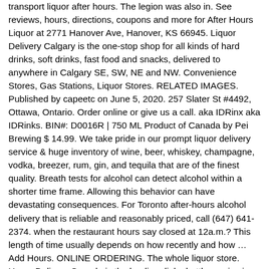transport liquor after hours. The legion was also in. See reviews, hours, directions, coupons and more for After Hours Liquor at 2771 Hanover Ave, Hanover, KS 66945. Liquor Delivery Calgary is the one-stop shop for all kinds of hard drinks, soft drinks, fast food and snacks, delivered to anywhere in Calgary SE, SW, NE and NW. Convenience Stores, Gas Stations, Liquor Stores. RELATED IMAGES. Published by capeetc on June 5, 2020. 257 Slater St #4492, Ottawa, Ontario. Order online or give us a call. aka IDRinx aka IDRinks. BIN#: D0016R | 750 ML Product of Canada by Pei Brewing $ 14.99. We take pride in our prompt liquor delivery service & huge inventory of wine, beer, whiskey, champagne, vodka, breezer, rum, gin, and tequila that are of the finest quality. Breath tests for alcohol can detect alcohol within a shorter time frame. Allowing this behavior can have devastating consequences. For Toronto after-hours alcohol delivery that is reliable and reasonably priced, call (647) 641-2374. when the restaurant hours say closed at 12a.m.? This length of time usually depends on how recently and how … Add Hours. ONLINE ORDERING. The whole liquor store. Home Delivery Canada is the leading dial a bottle service in Ontario. Thanks! You have corrected this article This article has been corrected by You and other Voluntroves This article has been corrected by Voluntroves $ Close Captcha. The average urine test can detect alcohol between 12 and 48 hours after drinking. After Hours Alcohol Ottawa. For maps and directions to After Hours Liquor view the map to the right. After Hours Alcohol Delivery. 2. Arts & Entertainment.